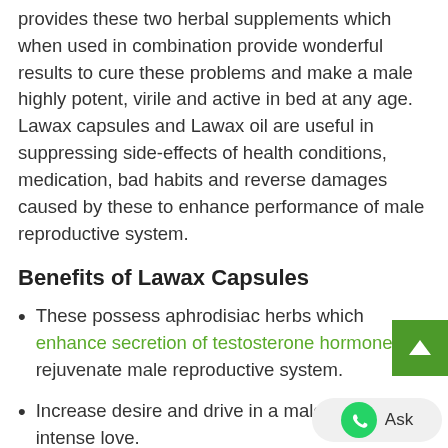provides these two herbal supplements which when used in combination provide wonderful results to cure these problems and make a male highly potent, virile and active in bed at any age. Lawax capsules and Lawax oil are useful in suppressing side-effects of health conditions, medication, bad habits and reverse damages caused by these to enhance performance of male reproductive system.
Benefits of Lawax Capsules
These possess aphrodisiac herbs which enhance secretion of testosterone hormone and rejuvenate male reproductive system.
Increase desire and drive in a male to make intense love.